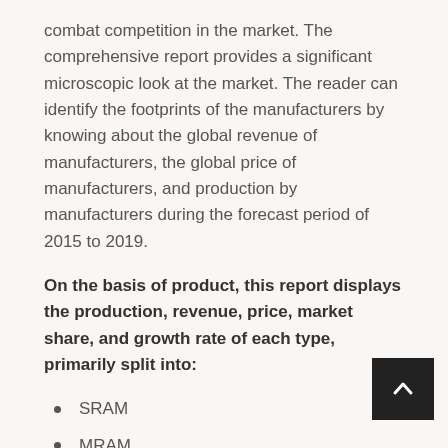combat competition in the market. The comprehensive report provides a significant microscopic look at the market. The reader can identify the footprints of the manufacturers by knowing about the global revenue of manufacturers, the global price of manufacturers, and production by manufacturers during the forecast period of 2015 to 2019.
On the basis of product, this report displays the production, revenue, price, market share, and growth rate of each type, primarily split into:
SRAM
MRAM
FRAM
On the basis of the end users/applications, this report focuses on the status and outlook for major